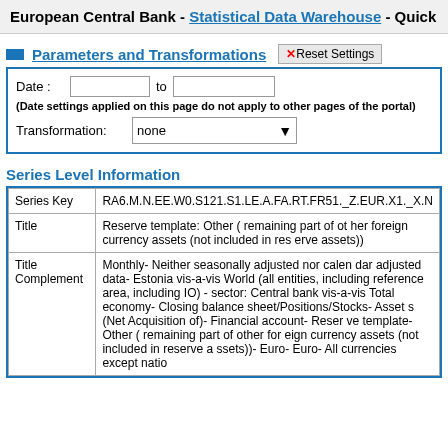European Central Bank - Statistical Data Warehouse - Quick
Parameters and Transformations
Date :    to
(Date settings applied on this page do not apply to other pages of the portal)
Transformation: none
Series Level Information
|  |  |
| --- | --- |
| Series Key | RA6.M.N.EE.W0.S121.S1.LE.A.FA.RT.FR51._Z.EUR.X1._X.N |
| Title | Reserve template: Other ( remaining part of other foreign currency assets (not included in reserve assets)) |
| Title Complement | Monthly- Neither seasonally adjusted nor calendar adjusted data- Estonia vis-a-vis World (all entities, including reference area, including IO) - sector: Central bank vis-a-vis Total economy- Closing balance sheet/Positions/Stocks- Assets (Net Acquisition of)- Financial account- Reserve template- Other ( remaining part of other foreign currency assets (not included in reserve assets))- Euro- Euro- All currencies except natio |